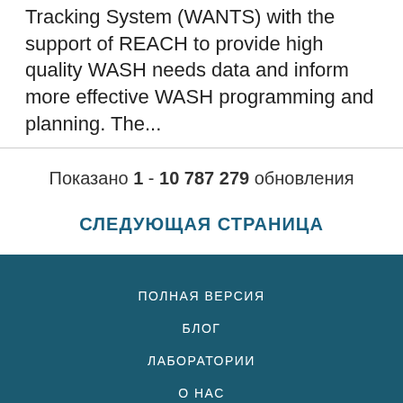Tracking System (WANTS) with the support of REACH to provide high quality WASH needs data and inform more effective WASH programming and planning. The...
Показано 1 - 10 787 279 обновления
СЛЕДУЮЩАЯ СТРАНИЦА
ПОЛНАЯ ВЕРСИЯ
БЛОГ
ЛАБОРАТОРИИ
О НАС
КОНФИДЕНЦИАЛЬНОСТЬ
ОСНОВНЫЕ ПОЛОЖЕНИЯ